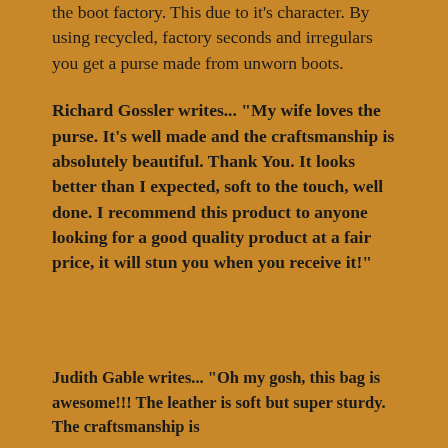the boot factory. This due to it's character. By using recycled, factory seconds and irregulars you get a purse made from unworn boots.
Richard Gossler writes... "My wife loves the purse. It's well made and the craftsmanship is absolutely beautiful. Thank You. It looks better than I expected, soft to the touch, well done. I recommend this product to anyone looking for a good quality product at a fair price, it will stun you when you receive it!"
Judith Gable writes... "Oh my gosh, this bag is awesome!!! The leather is soft but super sturdy. The craftsmanship is